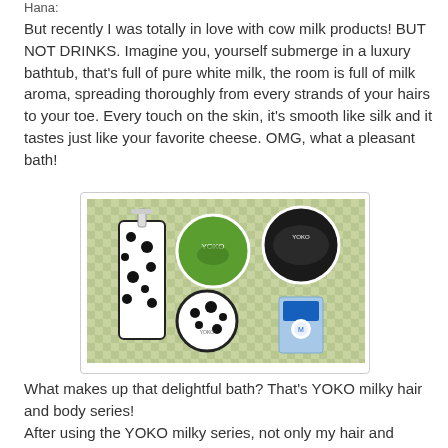Hana:
But recently I was totally in love with cow milk products! BUT NOT DRINKS. Imagine you, yourself submerge in a luxury bathtub, that's full of pure white milk, the room is full of milk aroma, spreading thoroughly from every strands of your hairs to your toe. Every touch on the skin, it's smooth like silk and it tastes just like your favorite cheese. OMG, what a pleasant bath!
[Figure (photo): Photo of YOKO milky hair and body series products arranged on a green checkered tablecloth: a cow-print pump bottle on the left, a green round tub, a dark round tub, a small cow-print round tub, and a small blue box.]
What makes up that delightful bath? That's YOKO milky hair and body series!
After using the YOKO milky series, not only my hair and